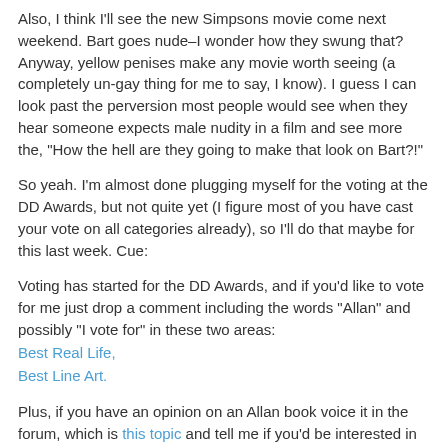Also, I think I'll see the new Simpsons movie come next weekend. Bart goes nude–I wonder how they swung that? Anyway, yellow penises make any movie worth seeing (a completely un-gay thing for me to say, I know). I guess I can look past the perversion most people would see when they hear someone expects male nudity in a film and see more the, "How the hell are they going to make that look on Bart?!"
So yeah. I'm almost done plugging myself for the voting at the DD Awards, but not quite yet (I figure most of you have cast your vote on all categories already), so I'll do that maybe for this last week. Cue:
Voting has started for the DD Awards, and if you'd like to vote for me just drop a comment including the words "Allan" and possibly "I vote for" in these two areas:
Best Real Life,
Best Line Art.
Plus, if you have an opinion on an Allan book voice it in the forum, which is this topic and tell me if you'd be interested in purchasing an "Allan" book.
And now, I even have a thread up open for "Allan" T-shirts, so if you have something you'd like to see on a shirt, tell me! Right here!
Note: the only real reason I made these threads was because people